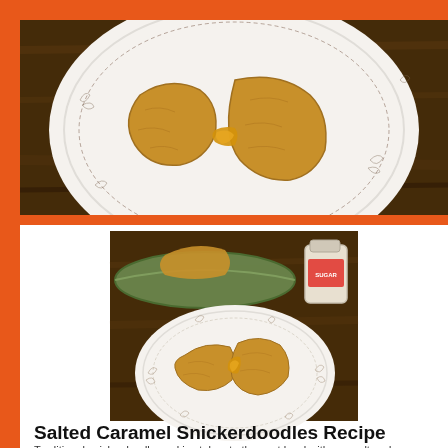[Figure (photo): Top-down view of a floral-patterned white plate on a dark wooden table, showing broken snickerdoodle cookies with caramel filling oozing out]
[Figure (photo): Food photography of salted caramel snickerdoodle cookies on a floral-patterned white plate, with green ceramic tray and sugar jar in background on dark wood surface]
Salted Caramel Snickerdoodles Recipe
Traditional snickerdoodle cookies taken to the next level with sea salt and caramel.